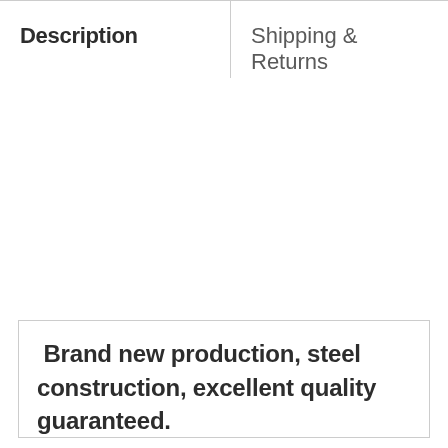| Description | Shipping & Returns |
| --- | --- |
Brand new production, steel construction, excellent quality guaranteed.